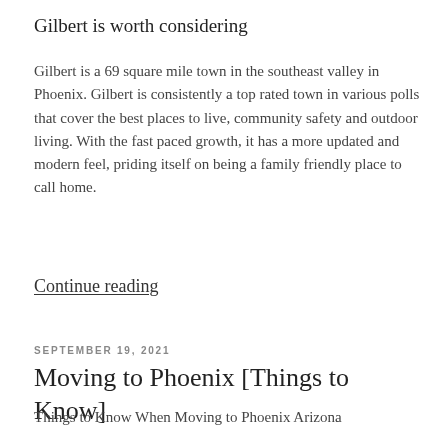Gilbert is worth considering
Gilbert is a 69 square mile town in the southeast valley in Phoenix.  Gilbert is consistently a top rated town in various polls that cover the best places to live, community safety and outdoor living.  With the fast paced growth, it has a more updated and modern feel, priding itself on being a family friendly place to call home.
Continue reading
SEPTEMBER 19, 2021
Moving to Phoenix [Things to Know]
Things to Know When Moving to Phoenix Arizona